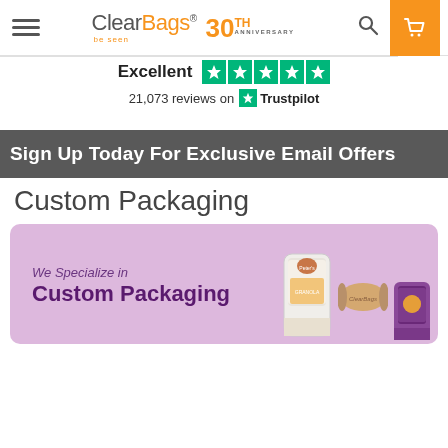[Figure (screenshot): ClearBags website header with hamburger menu, ClearBags 30th Anniversary logo, search icon, and shopping cart icon on orange background]
Excellent  21,073 reviews on  Trustpilot
Sign Up Today For Exclusive Email Offers
Custom Packaging
[Figure (illustration): Promotional banner with lavender background showing 'We Specialize in Custom Packaging' text with product images of packaging bags and a pillow box]